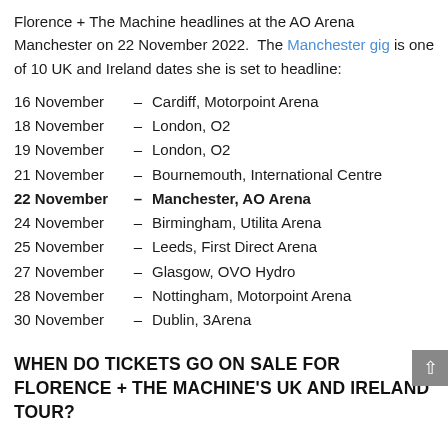Florence + The Machine headlines at the AO Arena Manchester on 22 November 2022. The Manchester gig is one of 10 UK and Ireland dates she is set to headline:
16 November – Cardiff, Motorpoint Arena
18 November – London, O2
19 November – London, O2
21 November – Bournemouth, International Centre
22 November – Manchester, AO Arena
24 November – Birmingham, Utilita Arena
25 November – Leeds, First Direct Arena
27 November – Glasgow, OVO Hydro
28 November – Nottingham, Motorpoint Arena
30 November – Dublin, 3Arena
WHEN DO TICKETS GO ON SALE FOR FLORENCE + THE MACHINE'S UK AND IRELAND TOUR?